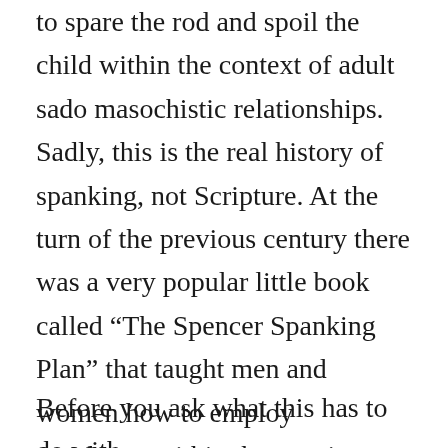to spare the rod and spoil the child within the context of adult sado masochistic relationships. Sadly, this is the real history of spanking, not Scripture. At the turn of the previous century there was a very popular little book called “The Spencer Spanking Plan” that taught men and women how to employ spankings within the marriage bedroom in order to “even the score” and not allow disharmony in day to day life to interfere with the sexual relationship.
Before you ask what this has to do with spanking children, some will say that spanking